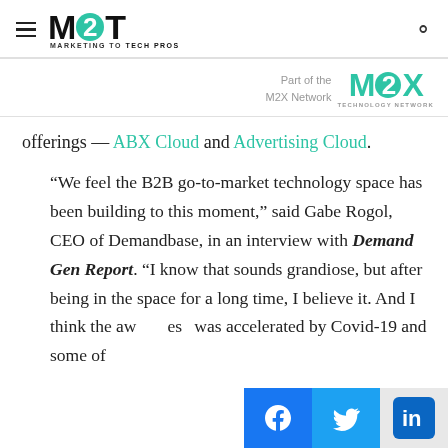M2T - Marketing to Tech Pros
[Figure (logo): M2X Network logo with text 'Part of the M2X Network Technology Network']
offerings — ABX Cloud and Advertising Cloud.
“We feel the B2B go-to-market technology space has been building to this moment,” said Gabe Rogol, CEO of Demandbase, in an interview with Demand Gen Report. “I know that sounds grandiose, but after being in the space for a long time, I believe it. And I think the awareness was accelerated by Covid-19 and some of